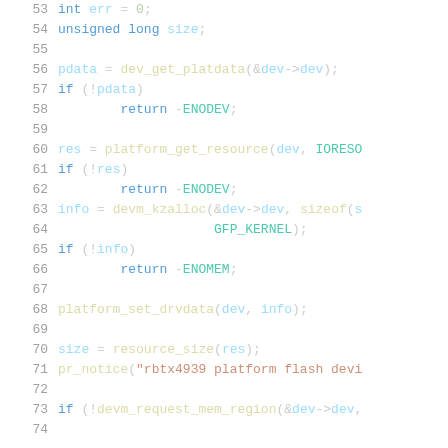Source code listing, lines 53-74, C kernel driver code